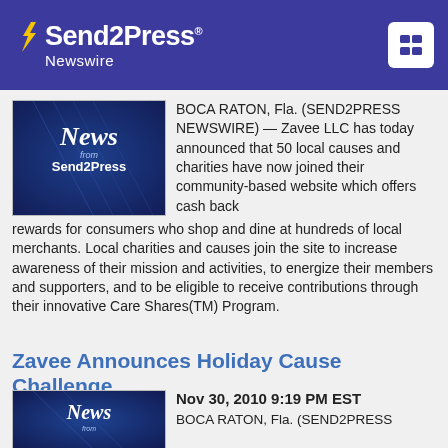Send2Press Newswire
[Figure (logo): Send2Press Newswire logo with white text and lightning bolt icon on purple background]
[Figure (photo): News from Send2Press Newswire blue graphic image]
BOCA RATON, Fla. (SEND2PRESS NEWSWIRE) — Zavee LLC has today announced that 50 local causes and charities have now joined their community-based website which offers cash back rewards for consumers who shop and dine at hundreds of local merchants. Local charities and causes join the site to increase awareness of their mission and activities, to energize their members and supporters, and to be eligible to receive contributions through their innovative Care Shares(TM) Program.
Zavee Announces Holiday Cause Challenge
Nov 30, 2010 9:19 PM EST
BOCA RATON, Fla. (SEND2PRESS
[Figure (photo): News from Send2Press Newswire blue graphic image, partial]